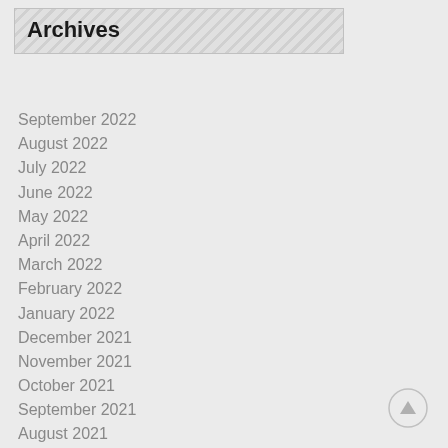Archives
September 2022
August 2022
July 2022
June 2022
May 2022
April 2022
March 2022
February 2022
January 2022
December 2021
November 2021
October 2021
September 2021
August 2021
July 2021
June 2021
May 2021
April 2021